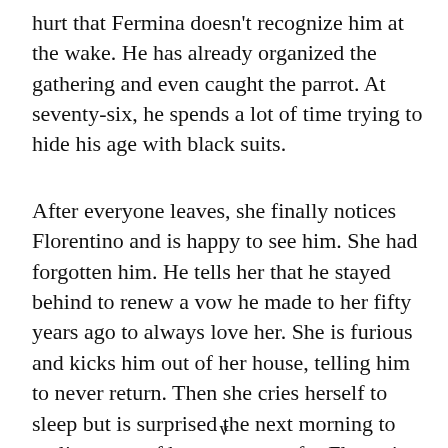hurt that Fermina doesn't recognize him at the wake. He has already organized the gathering and even caught the parrot. At seventy-six, he spends a lot of time trying to hide his age with black suits.
After everyone leaves, she finally notices Florentino and is happy to see him. She had forgotten him. He tells her that he stayed behind to renew a vow he made to her fifty years ago to always love her. She is furious and kicks him out of her house, telling him to never return. Then she cries herself to sleep but is surprised the next morning to realize most of her tears were for Florentino. Fermina may claim to have forgotten their love affair when they were teenagers.
v